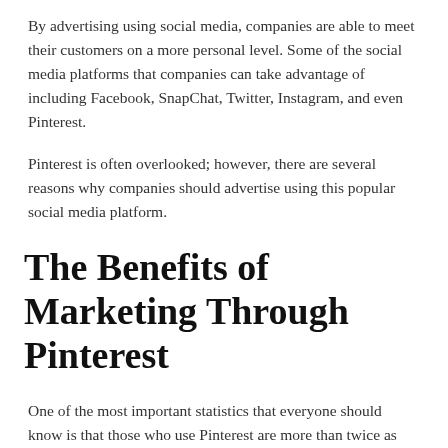By advertising using social media, companies are able to meet their customers on a more personal level. Some of the social media platforms that companies can take advantage of including Facebook, SnapChat, Twitter, Instagram, and even Pinterest.
Pinterest is often overlooked; however, there are several reasons why companies should advertise using this popular social media platform.
The Benefits of Marketing Through Pinterest
One of the most important statistics that everyone should know is that those who use Pinterest are more than twice as likely to state that the time and effort they spend on this site